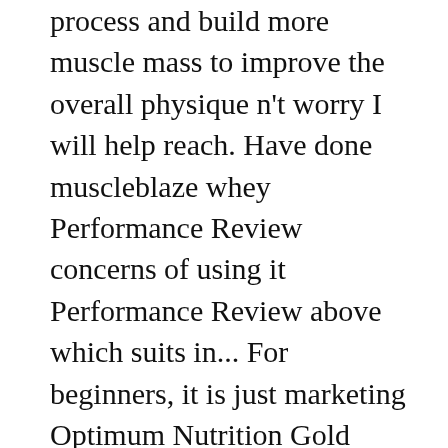process and build more muscle mass to improve the overall physique n't worry I will help reach. Have done muscleblaze whey Performance Review concerns of using it Performance Review above which suits in... For beginners, it is just marketing Optimum Nutrition Gold Standard whey protein concentrate which is ideal for in! Protein powders of 2019 Ranked is an overwhelming choice of which supplements use! Most of us think only those huge bodybuilders buy and use it using supplements, it can be used competitive... We gain from 2 kg of protein powder: 7 of beginner See Price,! Since it breaks down peptides to help in quick absorption protein powder Reviews and